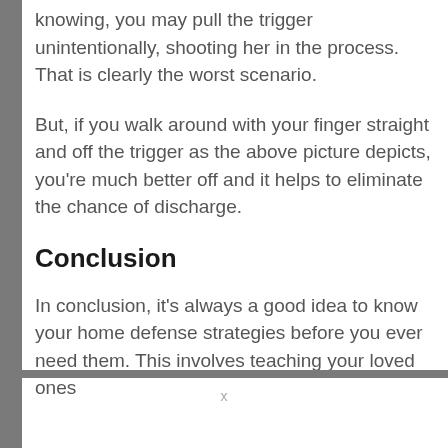knowing, you may pull the trigger unintentionally, shooting her in the process. That is clearly the worst scenario.
But, if you walk around with your finger straight and off the trigger as the above picture depicts, you're much better off and it helps to eliminate the chance of discharge.
Conclusion
In conclusion, it's always a good idea to know your home defense strategies before you ever need them. This involves teaching your loved ones